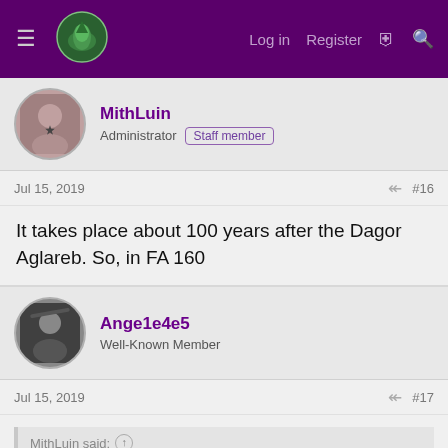Log in  Register
MithLuin
Administrator  Staff member
Jul 15, 2019  #16
It takes place about 100 years after the Dagor Aglareb. So, in FA 160
Ange1e4e5
Well-Known Member
Jul 15, 2019  #17
MithLuin said:
It takes place about 100 years after the Dagor Aglareb. So, in FA 160
Weren't we condensing the two events/leaving out the coastal